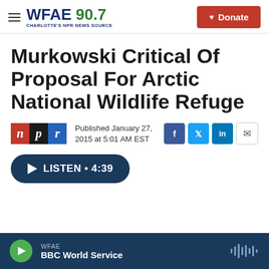WFAE 90.7 — Charlotte's NPR News Source | Donate
Murkowski Critical Of Proposal For Arctic National Wildlife Refuge
Published January 27, 2015 at 5:01 AM EST
[Figure (other): LISTEN • 4:39 audio player button]
WFAE — BBC World Service